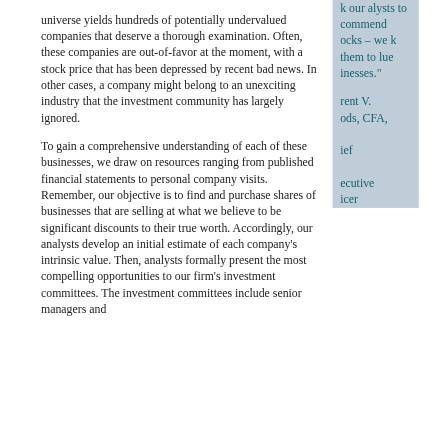universe yields hundreds of potentially undervalued companies that deserve a thorough examination. Often, these companies are out-of-favor at the moment, with a stock price that has been depressed by recent bad news. In other cases, a company might belong to an unexciting industry that the investment community has largely ignored.
To gain a comprehensive understanding of each of these businesses, we draw on resources ranging from published financial statements to personal company visits. Remember, our objective is to find and purchase shares of businesses that are selling at what we believe to be significant discounts to their true worth. Accordingly, our analysts develop an initial estimate of each company's intrinsic value. Then, analysts formally present the most compelling opportunities to our firm's investment committees. The investment committees include senior managers and
k our alysts to commend ocks – we k them to lue inesses."
rent V. ods, CFA, ief ecutive icer